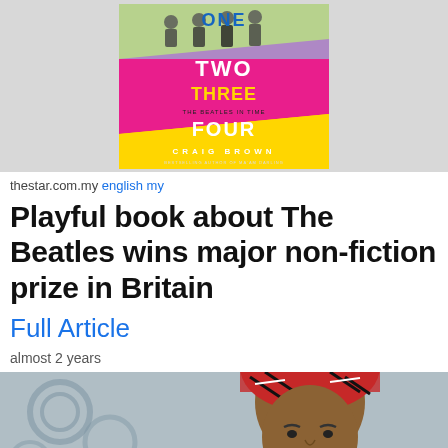[Figure (photo): Book cover of 'One Two Three Four: The Beatles in Time' by Craig Brown, with colorful diagonal bands in yellow and pink, showing the four Beatles at the top]
thestar.com.my english my
Playful book about The Beatles wins major non-fiction prize in Britain
Full Article
almost 2 years
[Figure (photo): Portrait photo of a woman wearing a colorful red and black patterned head wrap and matching outfit, looking at the camera with a slight smile]